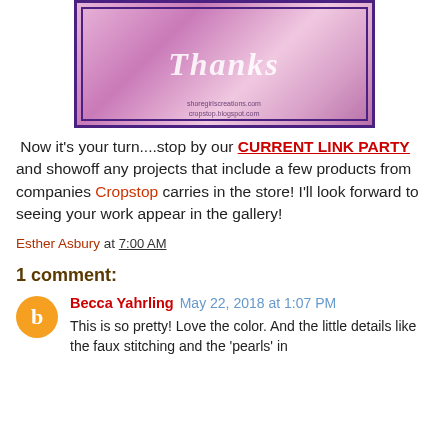[Figure (photo): A pink and purple handmade greeting card with 'Thanks' script and floral details, watermark reads shoregirlscreations.com and cropstop.blogspot.com]
Now it's your turn....stop by our CURRENT LINK PARTY and showoff any projects that include a few products from companies Cropstop carries in the store! I'll look forward to seeing your work appear in the gallery!
Esther Asbury at 7:00 AM
1 comment:
Becca Yahrling May 22, 2018 at 1:07 PM
This is so pretty! Love the color. And the little details like the faux stitching and the 'pearls' in